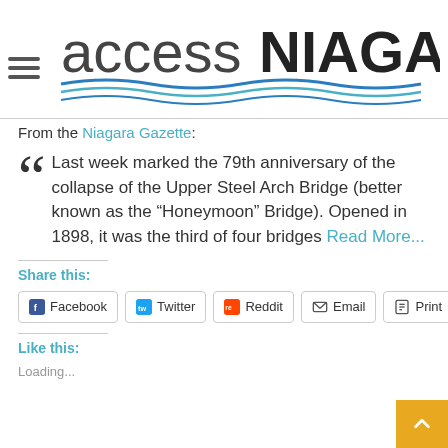[Figure (logo): Access Niagara logo with wavy blue water lines and hamburger menu icon]
From the Niagara Gazette:
Last week marked the 79th anniversary of the collapse of the Upper Steel Arch Bridge (better known as the “Honeymoon” Bridge). Opened in 1898, it was the third of four bridges Read More...
Share this:
Facebook  Twitter  Reddit  Email  Print
Like this:
Loading...